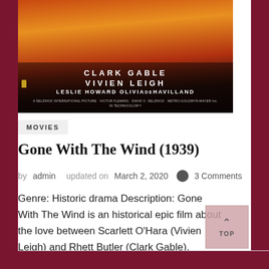[Figure (photo): Movie poster for Gone With The Wind showing cast names Clark Gable, Vivien Leigh, Leslie Howard, Olivia de Havilland against a dramatic fiery background]
MOVIES
Gone With The Wind (1939)
by admin   updated on March 2, 2020  💬 3 Comments
Genre: Historic drama Description: Gone With The Wind is an historical epic film about the love between Scarlett O'Hara (Vivien Leigh) and Rhett Butler (Clark Gable).